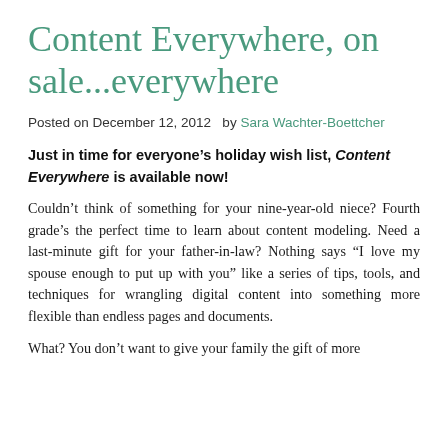Content Everywhere, on sale...everywhere
Posted on December 12, 2012  by Sara Wachter-Boettcher
Just in time for everyone's holiday wish list, Content Everywhere is available now!
Couldn't think of something for your nine-year-old niece? Fourth grade's the perfect time to learn about content modeling. Need a last-minute gift for your father-in-law? Nothing says “I love my spouse enough to put up with you” like a series of tips, tools, and techniques for wrangling digital content into something more flexible than endless pages and documents.
What? You don’t want to give your family the gift of more